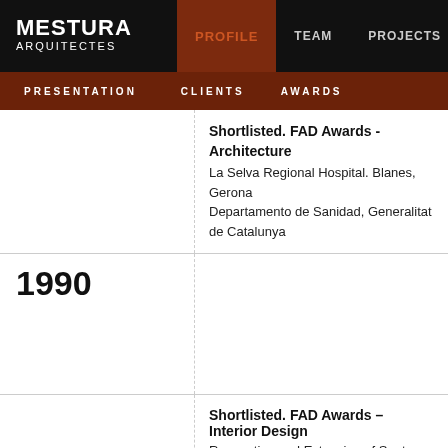MESTURA ARQUITECTES | PROFILE | TEAM | PROJECTS | PUBL
PRESENTATION | CLIENTS | AWARDS
1990
Shortlisted. FAD Awards - Architecture
La Selva Regional Hospital. Blanes, Gerona
Departamento de Sanidad, Generalitat de Catalunya
Shortlisted. FAD Awards – Interior Design
Renovation and Extension of Santa María Hospital. Lérida, Spain
Diputación de Lérida.
Shortlisted. Andrea Palladio International Award
Teaching Unit and Medical Research Centre, Lérida, Spain. Universidad de Lérida